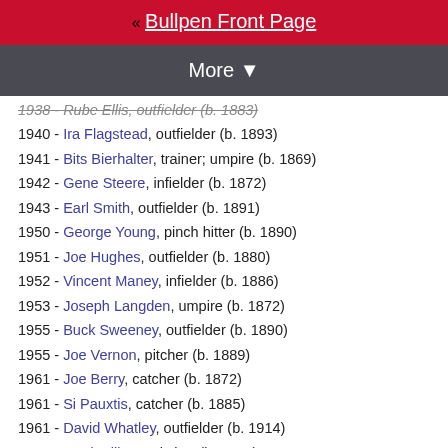« Bullpen Front Page
More ▼
1938 - Rube Ellis, outfielder (b. 1883)
1940 - Ira Flagstead, outfielder (b. 1893)
1941 - Bits Bierhalter, trainer; umpire (b. 1869)
1942 - Gene Steere, infielder (b. 1872)
1943 - Earl Smith, outfielder (b. 1891)
1950 - George Young, pinch hitter (b. 1890)
1951 - Joe Hughes, outfielder (b. 1880)
1952 - Vincent Maney, infielder (b. 1886)
1953 - Joseph Langden, umpire (b. 1872)
1955 - Buck Sweeney, outfielder (b. 1890)
1955 - Joe Vernon, pitcher (b. 1889)
1961 - Joe Berry, catcher (b. 1872)
1961 - Si Pauxtis, catcher (b. 1885)
1961 - David Whatley, outfielder (b. 1914)
1964 - Mack Allison, pitcher (b. 1887)
1967 - Dutch Prather, minor league infielder and manager (b. 1909)